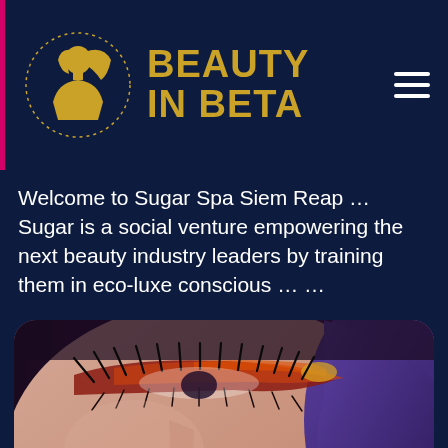[Figure (logo): Beauty In Beta website header with circular logo featuring a stylized woman silhouette in gold on dark navy background, brand name 'BEAUTY IN BETA' in gold text, and hamburger menu icon on the right]
Welcome to Sugar Spa Siem Reap … Sugar is a social venture empowering the next beauty industry leaders by training them in eco-luxe conscious … …
[Figure (photo): Close-up beauty photo of a woman's face showing dramatic red/orange eye makeup with long lashes, smooth skin, and purple hair, on a dark background]